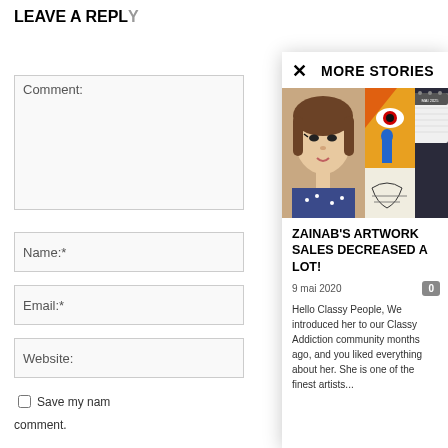LEAVE A REPLY
Comment:
Name:*
Email:*
Website:
Save my nam
comment.
MORE STORIES
[Figure (photo): Portrait of a young woman with short brown hair beside artwork and a calendar showing May 2020]
ZAINAB'S ARTWORK SALES DECREASED A LOT!
9 mai 2020
Hello Classy People, We introduced her to our Classy Addiction community months ago, and you liked everything about her. She is one of the finest artists...